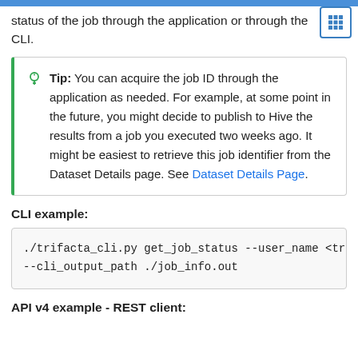status of the job through the application or through the CLI.
Tip: You can acquire the job ID through the application as needed. For example, at some point in the future, you might decide to publish to Hive the results from a job you executed two weeks ago. It might be easiest to retrieve this job identifier from the Dataset Details page. See Dataset Details Page.
CLI example:
./trifacta_cli.py get_job_status --user_name <tri --cli_output_path ./job_info.out
API v4 example - REST client: